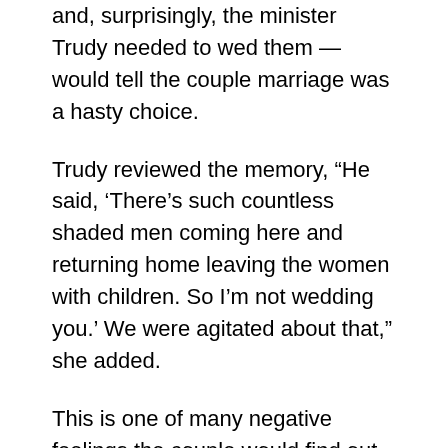and, surprisingly, the minister Trudy needed to wed them — would tell the couple marriage was a hasty choice.
Trudy reviewed the memory, “He said, ‘There’s such countless shaded men coming here and returning home leaving the women with children. So I’m not wedding you.’ We were agitated about that,” she added.
This is one of many negative feelings the couple would find out about their affection. The couple would ultimately move to Manchester, “I had a companion who told me: ‘Come to Manchester. It’s more accommodating, and there aren’t as many racial issues,’” Barclay said. “But it was challenging to track down convenience since